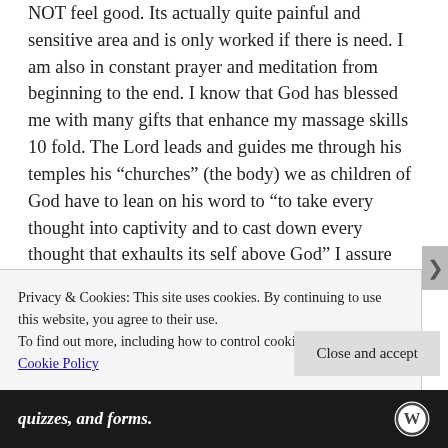NOT feel good. Its actually quite painful and sensitive area and is only worked if there is need. I am also in constant prayer and meditation from beginning to the end. I know that God has blessed me with many gifts that enhance my massage skills 10 fold. The Lord leads and guides me through his temples his “churches” (the body) we as children of God have to lean on his word to “to take every thought into captivity and to cast down every thought that exhaults its self above God” I assure you this if a man or woman are being tempted by massage they most likely have lust in their hearts (in general) and it may be something that one needs to seek God the father on for
Privacy & Cookies: This site uses cookies. By continuing to use this website, you agree to their use.
To find out more, including how to control cookies, see here: Cookie Policy
Close and accept
quizzes, and forms.